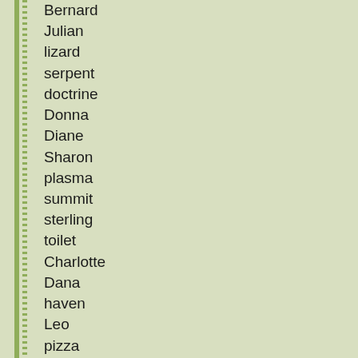Bernard
Julian
lizard
serpent
doctrine
Donna
Diane
Sharon
plasma
summit
sterling
toilet
Charlotte
Dana
haven
Leo
pizza
Marie
jungle
bishop
Egypt
Cairo
Vincent
Oscar
regime
tiger
Leonard
Adrian
bunny
karma
atlas
affair
closet